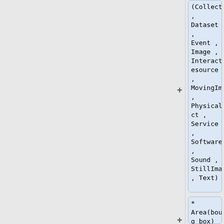(Collection , Dataset , Event , Image , InteractiveResource , MovingImage , PhysicalObject , Service , Software , Sound , StillImage , Text)
* Area(bounding box)
** current GRASS GIS